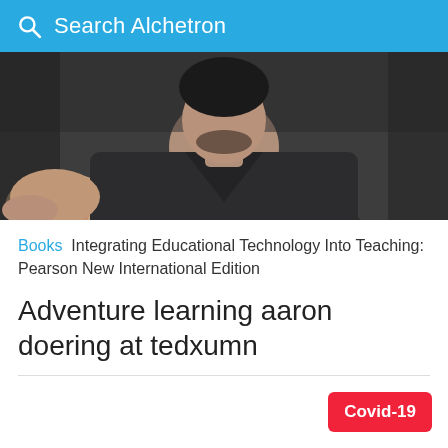Search Alchetron
[Figure (photo): Person in dark t-shirt viewed from upper body, sitting with arm resting on a surface]
Books  Integrating Educational Technology Into Teaching: Pearson New International Edition
Adventure learning aaron doering at tedxumn
Covid-19